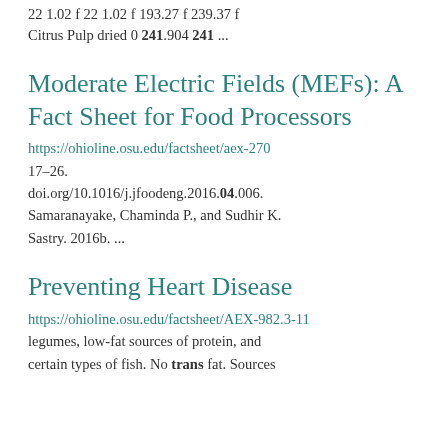22 1.02 f 22 1.02 f 193.27 f 239.37 f
Citrus Pulp dried 0 241.904 241 ...
Moderate Electric Fields (MEFs): A Fact Sheet for Food Processors
https://ohioline.osu.edu/factsheet/aex-270
17–26.
doi.org/10.1016/j.jfoodeng.2016.04.006.
Samaranayake, Chaminda P., and Sudhir K. Sastry. 2016b. ...
Preventing Heart Disease
https://ohioline.osu.edu/factsheet/AEX-982.3-11
legumes, low-fat sources of protein, and certain types of fish. No trans fat. Sources